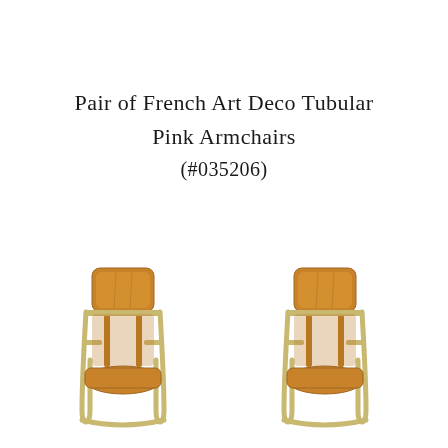Pair of French Art Deco Tubular Pink Armchairs (#035206)
[Figure (photo): Two French Art Deco tubular armchairs with tan/caramel leather upholstery and gold/chrome tubular metal frames, shown side by side on a white background.]